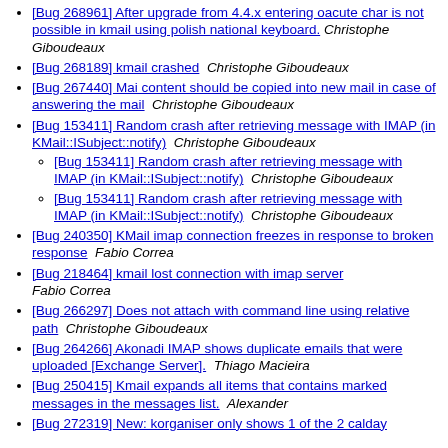[Bug 268961] After upgrade from 4.4.x entering oacute char is not possible in kmail using polish national keyboard. Christophe Giboudeaux
[Bug 268189] kmail crashed  Christophe Giboudeaux
[Bug 267440] Mai content should be copied into new mail in case of answering the mail  Christophe Giboudeaux
[Bug 153411] Random crash after retrieving message with IMAP (in KMail::ISubject::notify)  Christophe Giboudeaux
[Bug 153411] Random crash after retrieving message with IMAP (in KMail::ISubject::notify)  Christophe Giboudeaux
[Bug 153411] Random crash after retrieving message with IMAP (in KMail::ISubject::notify)  Christophe Giboudeaux
[Bug 240350] KMail imap connection freezes in response to broken response  Fabio Correa
[Bug 218464] kmail lost connection with imap server  Fabio Correa
[Bug 266297] Does not attach with command line using relative path  Christophe Giboudeaux
[Bug 264266] Akonadi IMAP shows duplicate emails that were uploaded [Exchange Server].  Thiago Macieira
[Bug 250415] Kmail expands all items that contains marked messages in the messages list.  Alexander
[Bug 272319] New: korganiser only shows 1 of the 2 calday